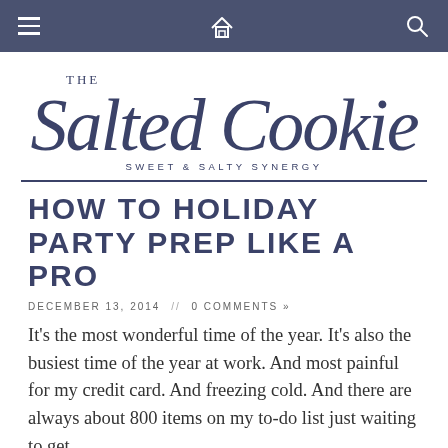The Salted Cookie — navigation bar with hamburger menu, home icon, search icon
[Figure (logo): The Salted Cookie logo: script font with 'THE' in small caps above, 'Salted Cookie' in large cursive script, tagline 'SWEET & SALTY SYNERGY' below]
HOW TO HOLIDAY PARTY PREP LIKE A PRO
DECEMBER 13, 2014  //  0 COMMENTS »
It's the most wonderful time of the year. It's also the busiest time of the year at work. And most painful for my credit card. And freezing cold. And there are always about 800 items on my to-do list just waiting to get checked off at the last moment.